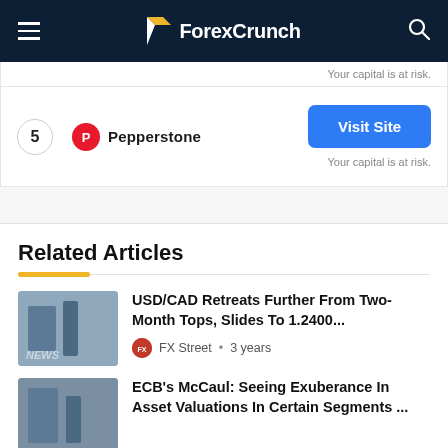ForexCrunch
Your capital is at risk.
5  Pepperstone  Visit Site  Your capital is at risk.
Related Articles
USD/CAD Retreats Further From Two-Month Tops, Slides To 1.2400...  FX Street • 3 years
ECB's McCaul: Seeing Exuberance In Asset Valuations In Certain Segments ...